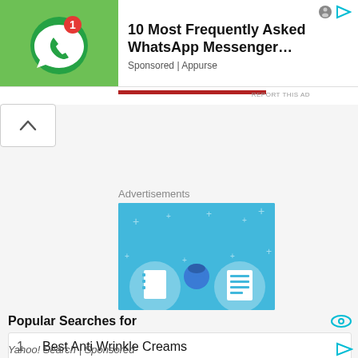[Figure (screenshot): WhatsApp messenger app icon on green background with notification badge showing number 1]
10 Most Frequently Asked WhatsApp Messenger…
Sponsored | Appurse
REPORT THIS AD
Advertisements
[Figure (illustration): Blue advertisement banner with illustrated figures including a notebook, person, and document icons]
Popular Searches for
1   Best Anti Wrinkle Creams
2   Best Sweatpants Women Online Sale
Yahoo! Search | Sponsored